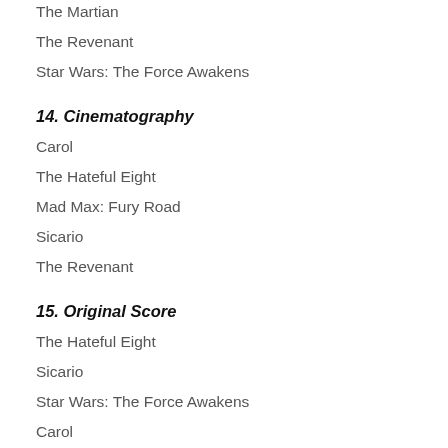The Martian
The Revenant
Star Wars: The Force Awakens
14. Cinematography
Carol
The Hateful Eight
Mad Max: Fury Road
Sicario
The Revenant
15. Original Score
The Hateful Eight
Sicario
Star Wars: The Force Awakens
Carol
Bridge of Spies
16. Adapted Screenplay
Carol
The Big Short